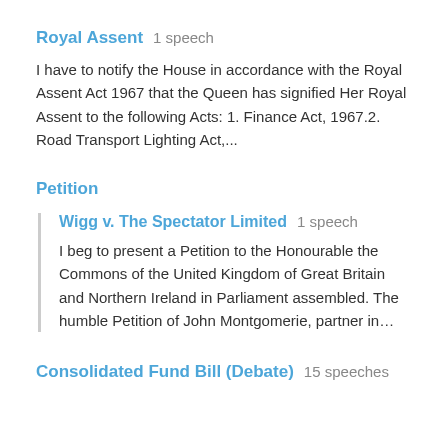Royal Assent   1 speech
I have to notify the House in accordance with the Royal Assent Act 1967 that the Queen has signified Her Royal Assent to the following Acts: 1. Finance Act, 1967.2. Road Transport Lighting Act,...
Petition
Wigg v. The Spectator Limited   1 speech
I beg to present a Petition to the Honourable the Commons of the United Kingdom of Great Britain and Northern Ireland in Parliament assembled. The humble Petition of John Montgomerie, partner in…
Consolidated Fund Bill (Debate)   15 speeches